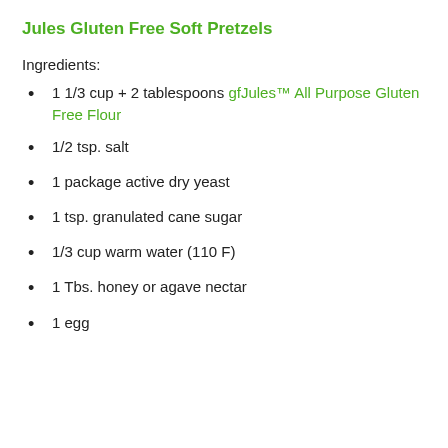Jules Gluten Free Soft Pretzels
Ingredients:
1 1/3 cup + 2 tablespoons gfJules™ All Purpose Gluten Free Flour
1/2 tsp. salt
1 package active dry yeast
1 tsp. granulated cane sugar
1/3 cup warm water (110 F)
1 Tbs. honey or agave nectar
1 egg